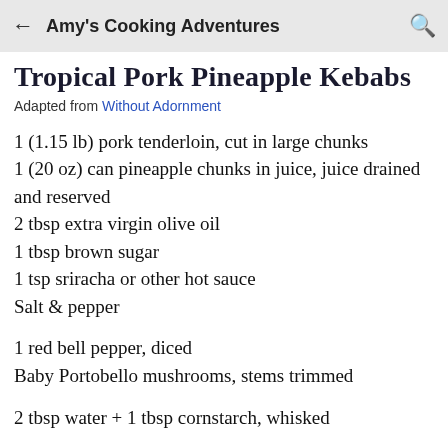Amy's Cooking Adventures
Tropical Pork Pineapple Kebabs
Adapted from Without Adornment
1 (1.15 lb) pork tenderloin, cut in large chunks
1 (20 oz) can pineapple chunks in juice, juice drained and reserved
2 tbsp extra virgin olive oil
1 tbsp brown sugar
1 tsp sriracha or other hot sauce
Salt & pepper
1 red bell pepper, diced
Baby Portobello mushrooms, stems trimmed
2 tbsp water + 1 tbsp cornstarch, whisked
Place the pork loin chunks into a large zipper bag.  In a bowl or large measuring cup, combine the pineapple juice (about 1 cup), olive oil, brown sugar,